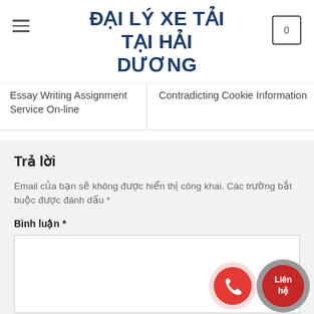ĐẠI LÝ XE TẢI TẠI HẢI DƯƠNG
Essay Writing Assignment Service On-line
Contradicting Cookie Information
Trả lời
Email của bạn sẽ không được hiển thị công khai. Các trường bắt buộc được đánh dấu *
Bình luận *
Tên *